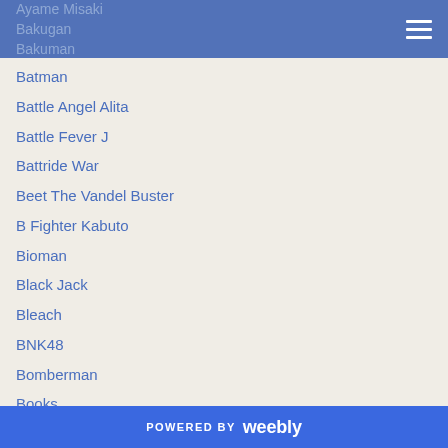Ayame Misaki
Bakugan
Bakuman
Batman
Battle Angel Alita
Battle Fever J
Battride War
Beet The Vandel Buster
B Fighter Kabuto
Bioman
Black Jack
Bleach
BNK48
Bomberman
Books
Boruto
Boukenger
Bravely Default
Brennan Mejia
POWERED BY weebly